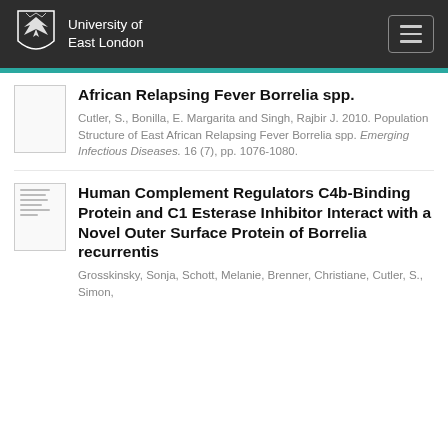University of East London
African Relapsing Fever Borrelia spp.
Cutler, S., Bonilla, E. Margarita and Singh, Rajbir J. 2010. Population Structure of East African Relapsing Fever Borrelia spp. Emerging Infectious Diseases. 16 (7), pp. 1076-1080.
Human Complement Regulators C4b-Binding Protein and C1 Esterase Inhibitor Interact with a Novel Outer Surface Protein of Borrelia recurrentis
Grosskinsky, Sonja, Schott, Melanie, Brenner, Christiane, Cutler, S., Simon,